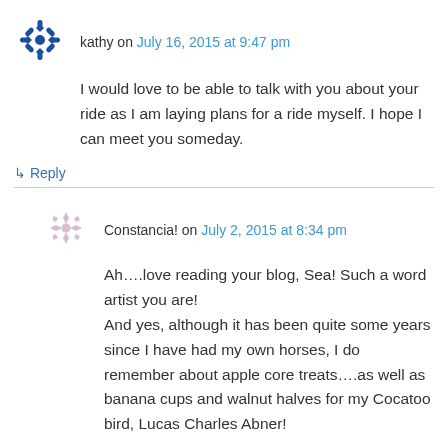kathy on July 16, 2015 at 9:47 pm
I would love to be able to talk with you about your ride as I am laying plans for a ride myself. I hope I can meet you someday.
↳ Reply
Constancia! on July 2, 2015 at 8:34 pm
Ah….love reading your blog, Sea! Such a word artist you are!
And yes, although it has been quite some years since I have had my own horses, I do remember about apple core treats….as well as banana cups and walnut halves for my Cocatoo bird, Lucas Charles Abner!